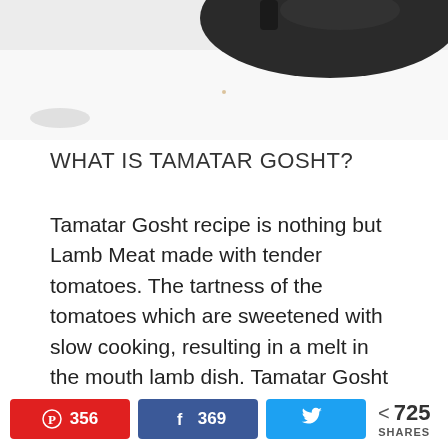[Figure (photo): Close-up photo of a dark cooking pan or pot, partially visible at top of the page, on a white background]
WHAT IS TAMATAR GOSHT?
Tamatar Gosht recipe is nothing but Lamb Meat made with tender tomatoes. The tartness of the tomatoes which are sweetened with slow cooking, resulting in a melt in the mouth lamb dish. Tamatar Gosht recipe is one of the easy mutton
[Figure (infographic): Social sharing bar with Pinterest button showing 356, Facebook button showing 369, Twitter button, and total shares count of 725 SHARES]